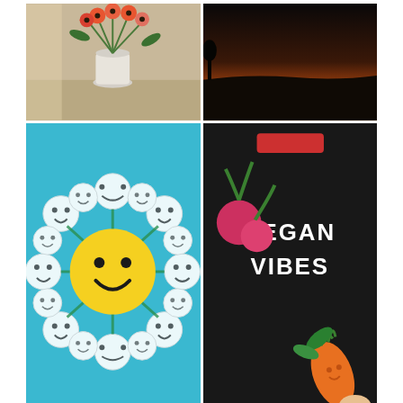[Figure (photo): A collage of four photos: top-left shows flowers in a vase on a table, top-right shows a dark landscape at dusk, bottom-left shows a colourful hand-drawn sun picture with smiley face circles, bottom-right shows a black sweater with 'VEGAN VIBES' text and vegetable illustrations.]
The end of term and the start of the summer holidays was finally here!
The end of term is always a bit frantic, with so many things needing doing and less and less time to fit them in, and this year has been filled with extra challenges (hello online learning) and the term ended with some real...